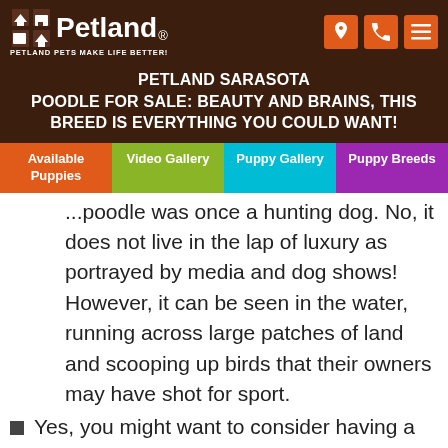[Figure (logo): Petland logo with dog house icon and text 'Petland' with tagline 'PETLAND PETS MAKE LIFE BETTER!']
PETLAND SARASOTA POODLE FOR SALE: BEAUTY AND BRAINS, THIS BREED IS EVERYTHING YOU COULD WANT!
Available Puppies | Video Gallery | Puppy Gallery | Puppy Breeds
...poodle was once a hunting dog. No, it does not live in the lap of luxury as portrayed by media and dog shows! However, it can be seen in the water, running across large patches of land and scooping up birds that their owners may have shot for sport.
Yes, you might want to consider having a large budget for grooming if you plan to keep one classy. The poodle has...